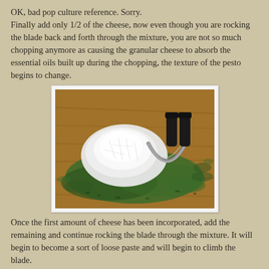OK, bad pop culture reference. Sorry.
Finally add only 1/2 of the cheese, now even though you are rocking the blade back and forth through the mixture, you are not so much chopping anymore as causing the granular cheese to absorb the essential oils built up during the chopping, the texture of the pesto begins to change.
[Figure (photo): A wooden cutting board with a pile of grated white cheese (Parmesan) on top of chopped green herbs (basil), with a mezzaluna or herb chopper knife resting to the right.]
Once the first amount of cheese has been incorporated, add the remaining and continue rocking the blade through the mixture. It will begin to become a sort of loose paste and will begin to climb the blade.